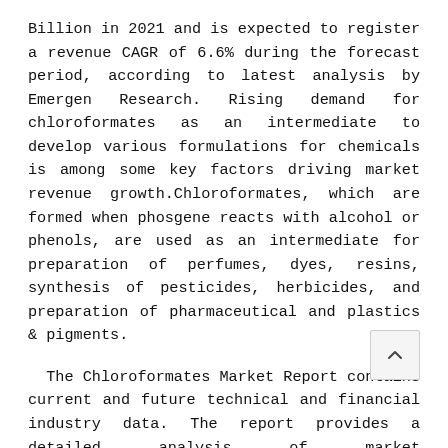Billion in 2021 and is expected to register a revenue CAGR of 6.6% during the forecast period, according to latest analysis by Emergen Research. Rising demand for chloroformates as an intermediate to develop various formulations for chemicals is among some key factors driving market revenue growth.Chloroformates, which are formed when phosgene reacts with alcohol or phenols, are used as an intermediate for preparation of perfumes, dyes, resins, synthesis of pesticides, herbicides, and preparation of pharmaceutical and plastics & pigments.
The Chloroformates Market Report contains current and future technical and financial industry data. The report provides a detailed analysis of market characteristics, size and growth, segmentation, breakdowns by region and country, and the competitive landscape. In addition, this report examines all the key factors influencing the growth of the global market, including the supply and demand scenario, pricing structure, profit margins, production and value chain analysis. Research indicates the widespread